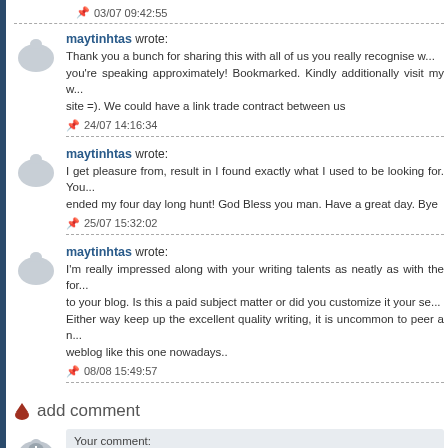03/07 09:42:55
maytinhtas wrote: Thank you a bunch for sharing this with all of us you really recognise w... you're speaking approximately! Bookmarked. Kindly additionally visit my w... site =). We could have a link trade contract between us
24/07 14:16:34
maytinhtas wrote: I get pleasure from, result in I found exactly what I used to be looking for. You... ended my four day long hunt! God Bless you man. Have a great day. Bye
25/07 15:32:02
maytinhtas wrote: I'm really impressed along with your writing talents as neatly as with the for... to your blog. Is this a paid subject matter or did you customize it your se... Either way keep up the excellent quality writing, it is uncommon to peer a n... weblog like this one nowadays..
08/08 15:49:57
add comment
Your comment: